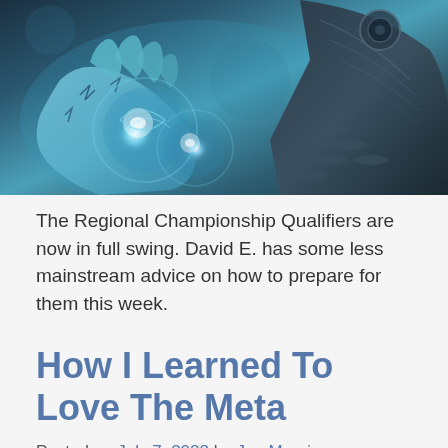[Figure (illustration): Fantasy illustration showing a figure in dark armor holding glowing blue crystal balls or orbs in their hands, with rune-like markings on the hand; teal and dark tones]
The Regional Championship Qualifiers are now in full swing. David E. has some less mainstream advice on how to prepare for them this week.
How I Learned To Love The Meta
Posted on July 7, 2022 by Joe Mauri